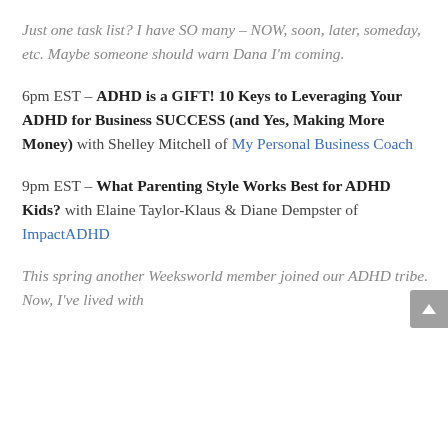Just one task list? I have SO many – NOW, soon, later, someday, etc. Maybe someone should warn Dana I'm coming.
6pm EST – ADHD is a GIFT! 10 Keys to Leveraging Your ADHD for Business SUCCESS (and Yes, Making More Money) with Shelley Mitchell of My Personal Business Coach
9pm EST – What Parenting Style Works Best for ADHD Kids? with Elaine Taylor-Klaus & Diane Dempster of ImpactADHD
This spring another Weeksworld member joined our ADHD tribe. Now, I've lived with